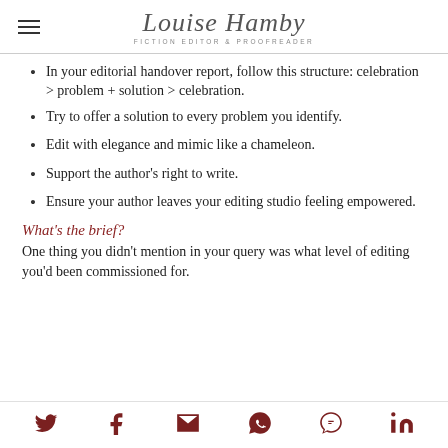Louise Hamby | Fiction Editor & Proofreader
In your editorial handover report, follow this structure: celebration > problem + solution > celebration.
Try to offer a solution to every problem you identify.
Edit with elegance and mimic like a chameleon.
Support the author's right to write.
Ensure your author leaves your editing studio feeling empowered.
What's the brief?
One thing you didn't mention in your query was what level of editing you'd been commissioned for.
Social icons: Twitter, Facebook, Email, WhatsApp, SMS, LinkedIn